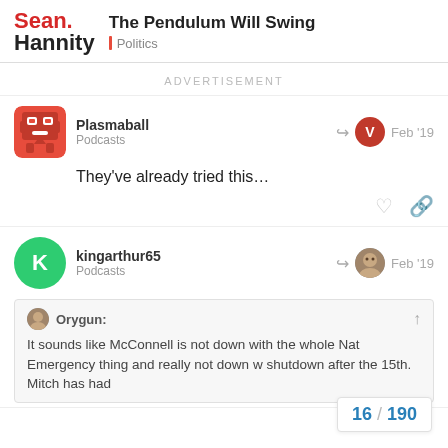Sean Hannity — The Pendulum Will Swing | Politics
ADVERTISEMENT
Plasmaball
Podcasts
Feb '19
They've already tried this…
kingarthur65
Podcasts
Feb '19
Orygun:
It sounds like McConnell is not down with the whole Nat Emergency thing and really not down w shutdown after the 15th. Mitch has had
16 / 190